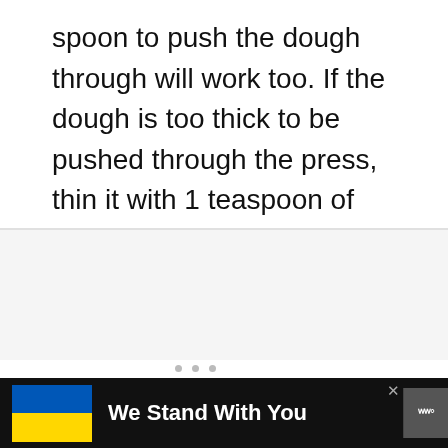spoon to push the dough through will work too. If the dough is too thick to be pushed through the press, thin it with 1 teaspoon of water at a time.
[Figure (screenshot): Interactive UI panel showing a heart/like button (teal circle with heart icon), a count badge showing 93, and a share button (circle with share icon). Below is a 'What's Next' card showing a thumbnail of Kaak (Cookies with a...) with an arrow.]
[Figure (infographic): Advertisement banner: Ukrainian flag (blue and yellow) on the left, bold white text 'We Stand With You', close X button, and a WW (Weight Watchers) logo on the right, all on a dark/black background.]